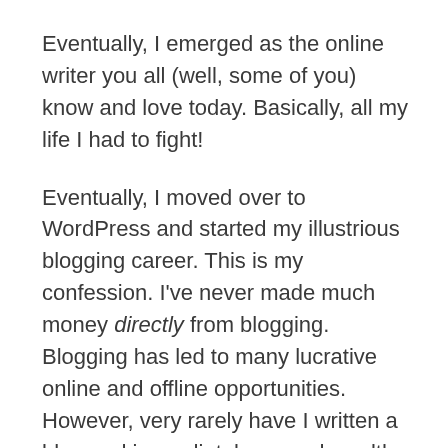Eventually, I emerged as the online writer you all (well, some of you) know and love today. Basically, all my life I had to fight!
Eventually, I moved over to WordPress and started my illustrious blogging career. This is my confession. I've never made much money directly from blogging. Blogging has led to many lucrative online and offline opportunities. However, very rarely have I written a blog and immediately reaped wealth and riches as soon as I hit publish.
To be fair, I know bloggers that have made thousands, even millions of dollars. But, just because I know people hit the lottery doesn't